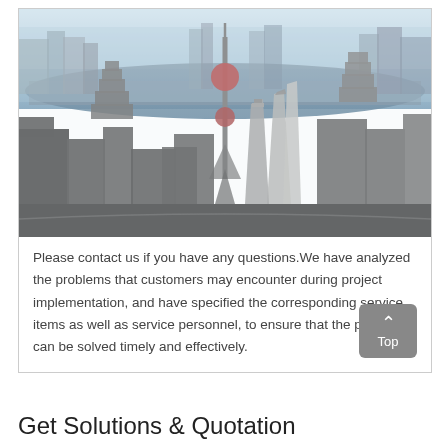[Figure (photo): Aerial view of Shanghai skyline featuring the Oriental Pearl Tower and surrounding skyscrapers with river (Huangpu) visible in background]
Please contact us if you have any questions.We have analyzed the problems that customers may encounter during project implementation, and have specified the corresponding service items as well as service personnel, to ensure that the problems can be solved timely and effectively.
Get Solutions & Quotation